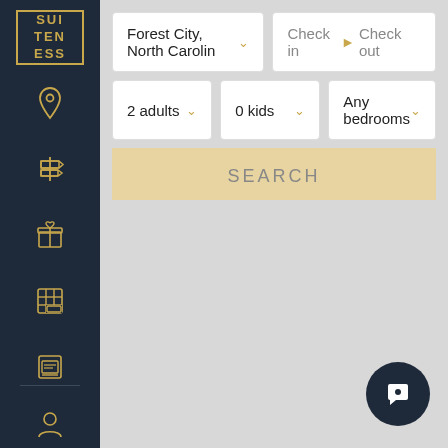[Figure (logo): Suiteness logo — gold bordered box with letters SUI TEN ESS in gold on dark navy background]
[Figure (screenshot): Web app search interface with location input showing 'Forest City, North Carolina', check in / check out date fields, 2 adults, 0 kids, Any bedrooms dropdowns, and a SEARCH button. Below is a grey map placeholder area. Icons on left sidebar include location pin, signpost, gift box, building grid, document, and user profile. A dark chat bubble button appears bottom right.]